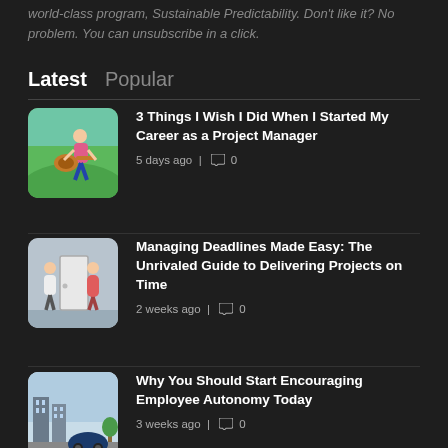world-class program, Sustainable Predictability. Don't like it? No problem. You can unsubscribe in a click.
Latest   Popular
3 Things I Wish I Did When I Started My Career as a Project Manager
5 days ago  |  0
Managing Deadlines Made Easy: The Unrivaled Guide to Delivering Projects on Time
2 weeks ago  |  0
Why You Should Start Encouraging Employee Autonomy Today
3 weeks ago  |  0